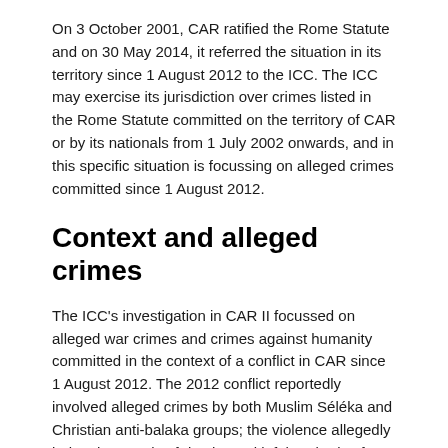On 3 October 2001, CAR ratified the Rome Statute and on 30 May 2014, it referred the situation in its territory since 1 August 2012 to the ICC. The ICC may exercise its jurisdiction over crimes listed in the Rome Statute committed on the territory of CAR or by its nationals from 1 July 2002 onwards, and in this specific situation is focussing on alleged crimes committed since 1 August 2012.
Context and alleged crimes
The ICC's investigation in CAR II focussed on alleged war crimes and crimes against humanity committed in the context of a conflict in CAR since 1 August 2012. The 2012 conflict reportedly involved alleged crimes by both Muslim Séléka and Christian anti-balaka groups; the violence allegedly led to thousands of deaths and left hundreds of thousands displaced. The UN has